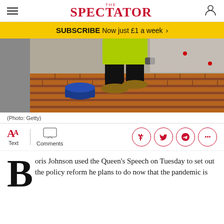THE SPECTATOR
SUBSCRIBE Now just £1 a week >
[Figure (photo): A construction worker in a hi-vis jacket laying bricks on a building site]
(Photo: Getty)
Text / Comments
Boris Johnson used the Queen's Speech on Tuesday to set out the policy reform he plans to do now that the pandemic is